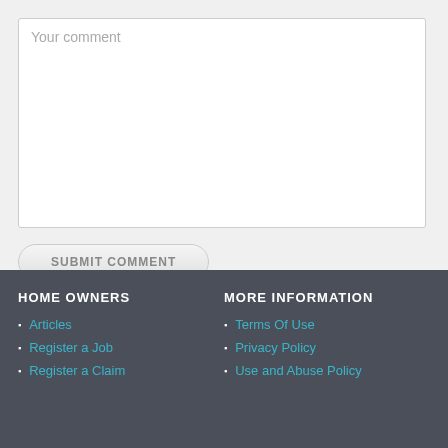Your comment
SUBMIT COMMENT
HOME OWNERS
MORE INFORMATION
Articles
Register a Job
Register a Claim
Terms Of Use
Privacy Policy
Use and Abuse Policy